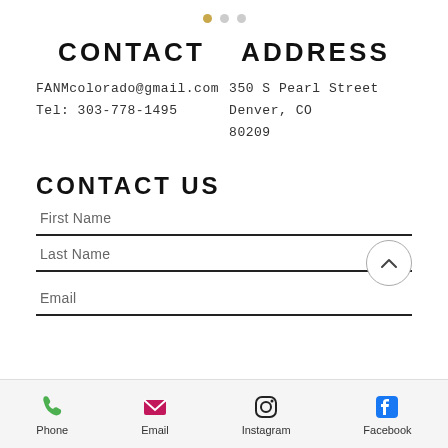[Figure (other): Navigation dots indicator: three dots, first one active/gold, two inactive/grey]
CONTACT   ADDRESS
FANMcolorado@gmail.com  350 S Pearl Street
Tel: 303-778-1495       Denver, CO
                        80209
CONTACT US
First Name
Last Name
Email
[Figure (other): Bottom navigation bar with icons and labels: Phone (green phone icon), Email (pink envelope icon), Instagram (Instagram logo), Facebook (Facebook logo)]